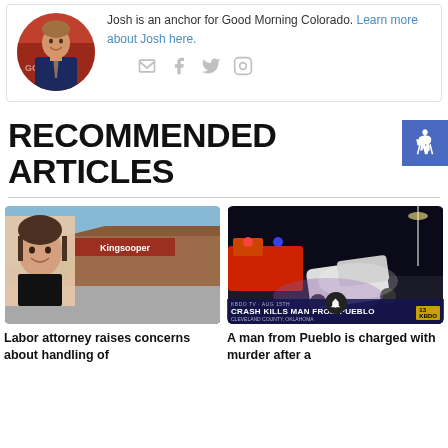Josh is an anchor for Good Morning Colorado. Learn more about Josh here.
[Figure (photo): Circular headshot of Josh, a man in a suit, smiling, with a TV studio background]
[Figure (infographic): Social media icons: email, Facebook, Twitter, Instagram in light gray]
RECOMMENDED ARTICLES
[Figure (photo): Article thumbnail: young woman smiling overlaid on a King Soopers store exterior]
Labor attorney raises concerns about handling of
[Figure (photo): Article thumbnail: nighttime crash scene with overturned vehicle and fire truck, banner reading CRASH KILLS MAN FROM PUEBLO]
A man from Pueblo is charged with murder after a